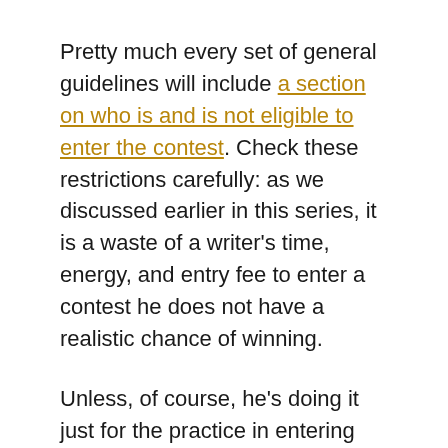Pretty much every set of general guidelines will include a section on who is and is not eligible to enter the contest. Check these restrictions carefully: as we discussed earlier in this series, it is a waste of a writer's time, energy, and entry fee to enter a contest he does not have a realistic chance of winning.
Unless, of course, he's doing it just for the practice in entering contests. That's not the world's worst idea, actually: as we have been seeing, there's more to preparing a winning contest entry than just printing up